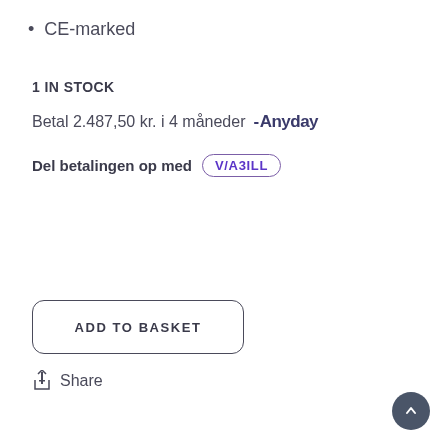CE-marked
1 IN STOCK
Betal 2.487,50 kr. i 4 måneder -Anyday
Del betalingen op med VIABILL
ADD TO BASKET
Share